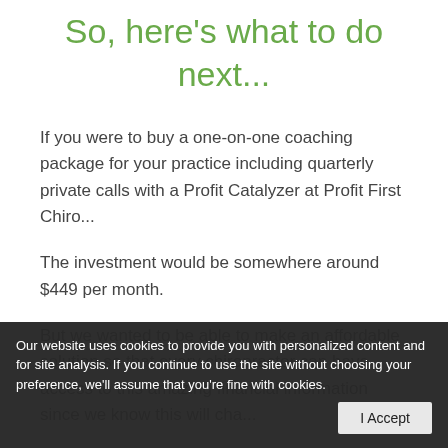So, here's what to do next...
If you were to buy a one-on-one coaching package for your practice including quarterly private calls with a Profit Catalyzer at Profit First Chiro...
The investment would be somewhere around $449 per month.
But we wanted to be able to make an affordable solution so that every chiropractor can have access to this amazing financial information since we know this will change...
Our website uses cookies to provide you with personalized content and for site analysis. If you continue to use the site without choosing your preference, we'll assume that you're fine with cookies.